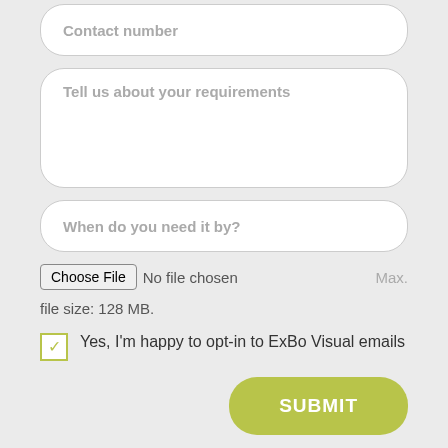Contact number
Tell us about your requirements
When do you need it by?
Choose File  No file chosen  Max. file size: 128 MB.
Yes, I'm happy to opt-in to ExBo Visual emails
SUBMIT